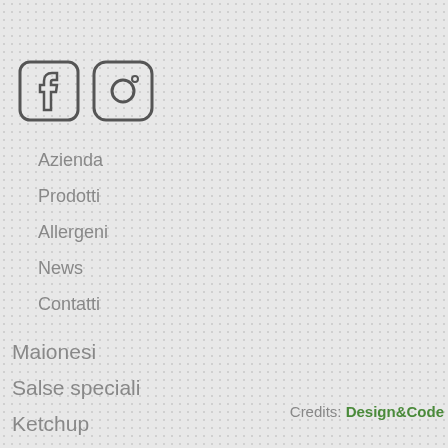[Figure (illustration): Facebook and Instagram social media icons (outline style)]
Azienda
Prodotti
Allergeni
News
Contatti
Maionesi
Salse speciali
Ketchup
Credits: Design&Code